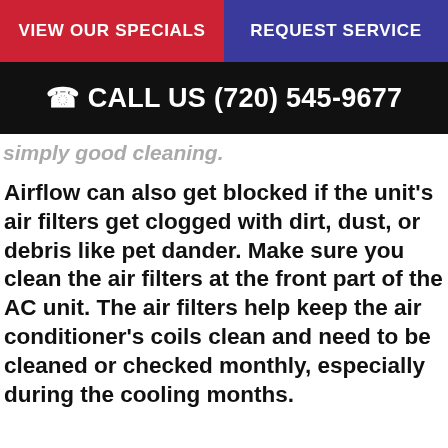VIEW OUR SPECIALS | REQUEST SERVICE
CALL US (720) 545-9677
simply good cleaning.
Airflow can also get blocked if the unit’s air filters get clogged with dirt, dust, or debris like pet dander. Make sure you clean the air filters at the front part of the AC unit. The air filters help keep the air conditioner’s coils clean and need to be cleaned or checked monthly, especially during the cooling months.